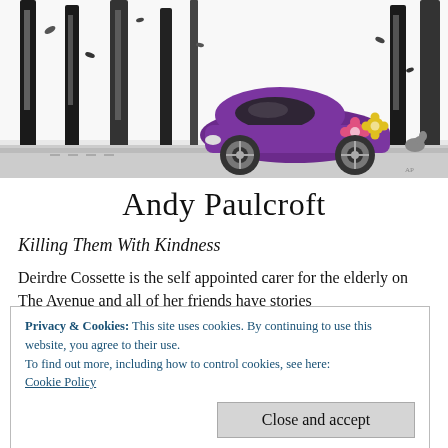[Figure (illustration): Pen-and-ink drawing of a purple Volkswagen Beetle-style car with flower decals, parked among black-and-white illustrated trees with falling leaves. A small squirrel is visible near the base of a tree on the right.]
Andy Paulcroft
Killing Them With Kindness
Deirdre Cossette is the self appointed carer for the elderly on The Avenue and all of her friends have stories
Privacy & Cookies: This site uses cookies. By continuing to use this website, you agree to their use.
To find out more, including how to control cookies, see here:
Cookie Policy
Close and accept
And, Oliver and Archie, who have survived everything